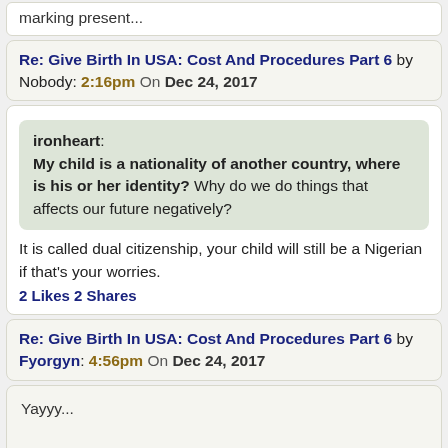marking present...
Re: Give Birth In USA: Cost And Procedures Part 6 by Nobody: 2:16pm On Dec 24, 2017
ironheart: My child is a nationality of another country, where is his or her identity? Why do we do things that affects our future negatively?
It is called dual citizenship, your child will still be a Nigerian if that's your worries.
2 Likes 2 Shares
Re: Give Birth In USA: Cost And Procedures Part 6 by Fyorgyn: 4:56pm On Dec 24, 2017
Yayyy...

Part 6...

Thanks Justwise for all you do.